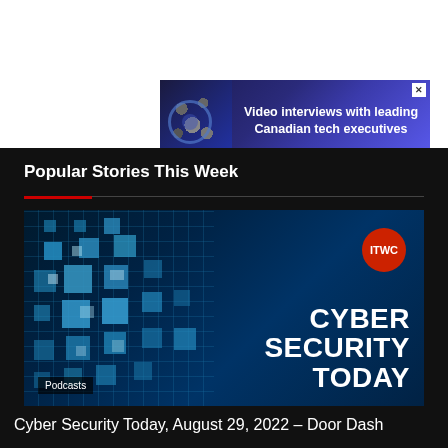[Figure (other): Advertisement banner: 'Video interviews with leading Canadian tech executives' with blue background and decorative tech imagery]
Popular Stories This Week
[Figure (other): Cyber Security Today podcast cover image with dark teal circuit-board background, ITWC logo in red circle, large white bold text reading CYBER SECURITY TODAY, and Podcasts label in bottom left]
Cyber Security Today, August 29, 2022 – Door Dash